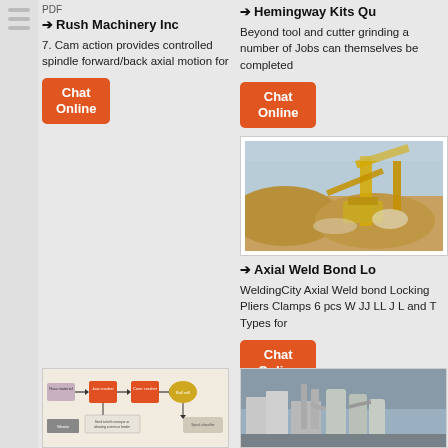PDF
→ Rush Machinery Inc
7. Cam action provides controlled spindle forward/back axial motion for
Chat Online
→ Hemingway Kits Qu...
Beyond tool and cutter grinding a number of Jobs can themselves be completed
Chat Online
[Figure (photo): Industrial quarry scene with yellow crane/conveyor machinery, piles of crushed stone/gravel, and dust clouds against a blue sky]
→ Axial Weld Bond Lo...
WeldingCity Axial Weld bond Locking Pliers Clamps 6 pcs W JJ LL J L and T Types for
Chat Online
[Figure (flowchart): Process flow diagram showing: Raw material → Jaw crusher → Cone crusher → Ball mill, with Vibrator below, middle box: 'Send to belt conveyor or vibrating screen or feeder', and Spiral classifier]
[Figure (photo): Industrial facility with large silos, cylindrical tanks, connecting pipes and ducts, and grey buildings]